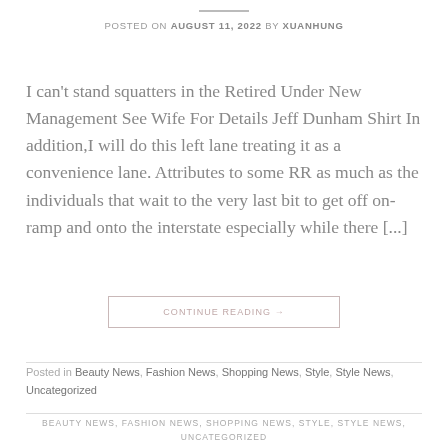POSTED ON AUGUST 11, 2022 BY XUANHUNG
I can't stand squatters in the Retired Under New Management See Wife For Details Jeff Dunham Shirt In addition,I will do this left lane treating it as a convenience lane. Attributes to some RR as much as the individuals that wait to the very last bit to get off on-ramp and onto the interstate especially while there [...]
CONTINUE READING →
Posted in Beauty News, Fashion News, Shopping News, Style, Style News, Uncategorized
BEAUTY NEWS, FASHION NEWS, SHOPPING NEWS, STYLE, STYLE NEWS, UNCATEGORIZED